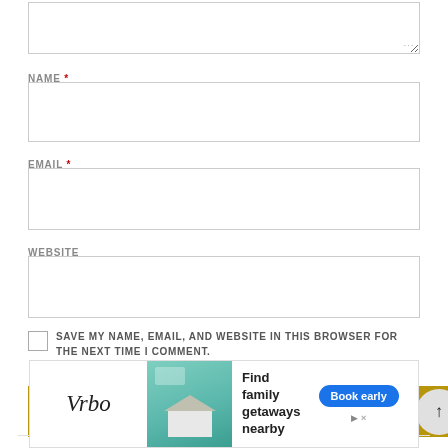NAME *
EMAIL *
WEBSITE
SAVE MY NAME, EMAIL, AND WEBSITE IN THIS BROWSER FOR THE NEXT TIME I COMMENT.
SUBMIT
[Figure (screenshot): Vrbo advertisement banner: Find family getaways nearby, with Book early button and an X close button]